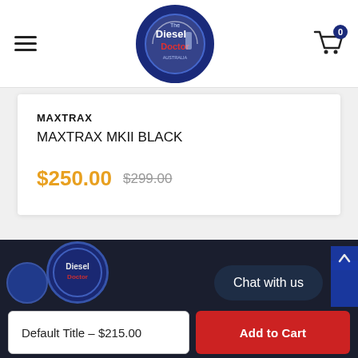Diesel Doctor — navigation header with hamburger menu, logo, and cart (0 items)
MAXTRAX
MAXTRAX MKII BLACK
$250.00  $299.00
[Figure (logo): Diesel Doctor Australia circular logo with dark blue border]
Chat with us
Default Title - $215.00
Add to Cart